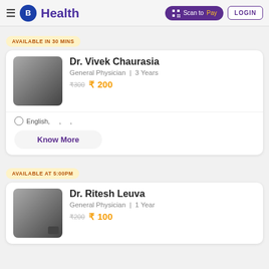B Health | Scan to Pay | LOGIN
AVAILABLE IN 30 MINS
[Figure (photo): Doctor profile photo placeholder - blurred gray square]
Dr. Vivek Chaurasia
General Physician | 3 Years
₹300 ₹ 200
English, , ,
Know More
AVAILABLE AT 5:00PM
[Figure (photo): Doctor profile photo placeholder - blurred gray square with video camera icon]
Dr. Ritesh Leuva
General Physician | 1 Year
₹200 ₹ 100